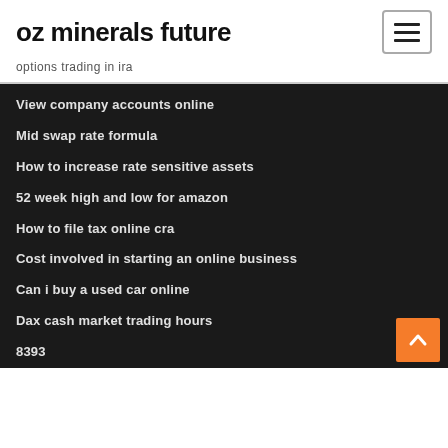oz minerals future
options trading in ira
View company accounts online
Mid swap rate formula
How to increase rate sensitive assets
52 week high and low for amazon
How to file tax online cra
Cost involved in starting an online business
Can i buy a used car online
Dax cash market trading hours
8393